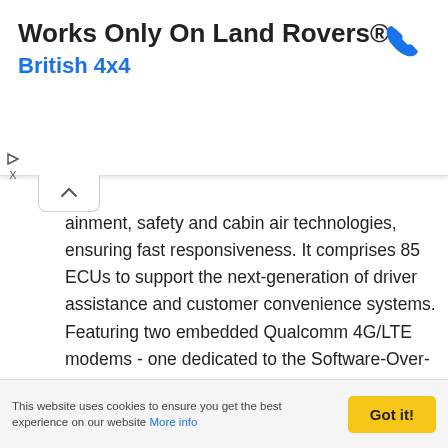[Figure (other): Advertisement banner: 'Works Only On Land Rovers® British 4x4' with a phone icon and ad controls]
ainment, safety and cabin air technologies, ensuring fast responsiveness. It comprises 85 ECUs to support the next-generation of driver assistance and customer convenience systems. Featuring two embedded Qualcomm 4G/LTE modems - one dedicated to the Software-Over-The-Air (SOTA) technology and another looking after music streaming and apps - the new electrical architecture ensures seamless connectivity and a quick start-up. Pivi Pro has its own separate power source, so customers don't need to wait for the system to load before performing actions such as entering navigation details. The system also has high-performance Snapdragon processors and an advanced QNX operating system for a
This website uses cookies to ensure you get the best experience on our website More info